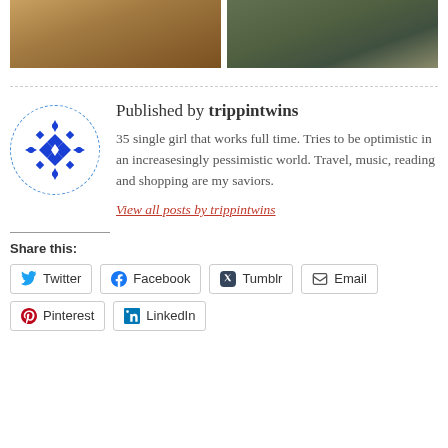[Figure (photo): Two cropped photos side by side at top: left shows a close-up of animal fur/texture in warm brown tones, right shows an outdoor scene with green/grey tones]
Published by trippintwins
[Figure (logo): Circular avatar with dashed blue border containing a blue geometric/snowflake pattern on white background]
35 single girl that works full time. Tries to be optimistic in an increasesingly pessimistic world. Travel, music, reading and shopping are my saviors.
View all posts by trippintwins
Share this:
Twitter
Facebook
Tumblr
Email
Pinterest
LinkedIn